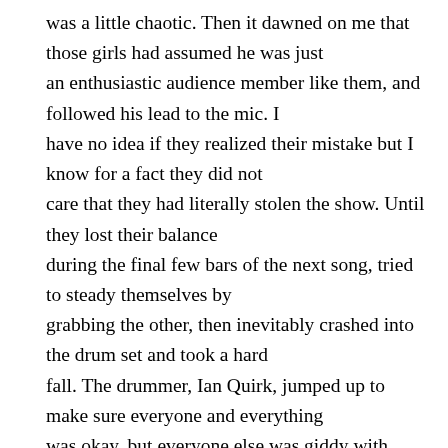was a little chaotic. Then it dawned on me that those girls had assumed he was just an enthusiastic audience member like them, and followed his lead to the mic. I have no idea if they realized their mistake but I know for a fact they did not care that they had literally stolen the show. Until they lost their balance during the final few bars of the next song, tried to steady themselves by grabbing the other, then inevitably crashed into the drum set and took a hard fall. The drummer, Ian Quirk, jumped up to make sure everyone and everything was okay, but everyone else was giddy with incredulity. The show must go on, and it did, with the entire room energized by the insanity of it all.